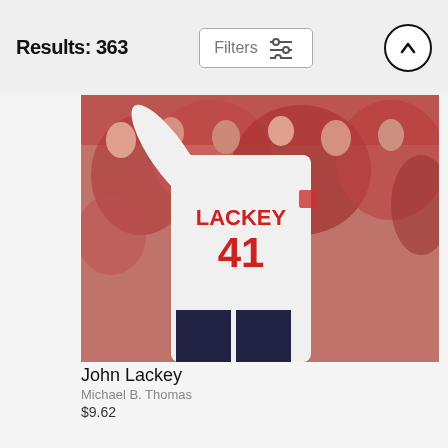Results: 363
[Figure (photo): Baseball player wearing jersey number 41 with name LACKEY, seen from behind with arm raised, crowd of fans in red in background]
John Lackey
Michael B. Thomas
$9.62
[Figure (photo): Baseball player in light blue Rays uniform running on field]
[Figure (photo): Baseball player in white uniform running on field with red-clad crowd in background]